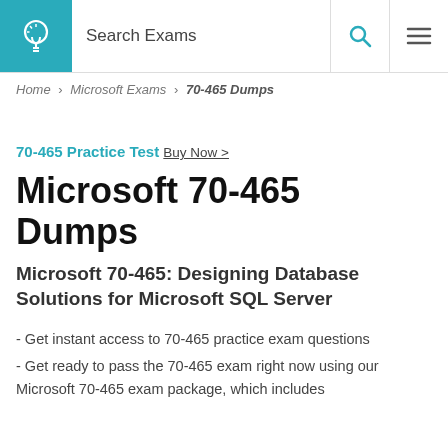Search Exams
Home > Microsoft Exams > 70-465 Dumps
70-465 Practice Test Buy Now >
Microsoft 70-465 Dumps
Microsoft 70-465: Designing Database Solutions for Microsoft SQL Server
- Get instant access to 70-465 practice exam questions
- Get ready to pass the 70-465 exam right now using our Microsoft 70-465 exam package, which includes